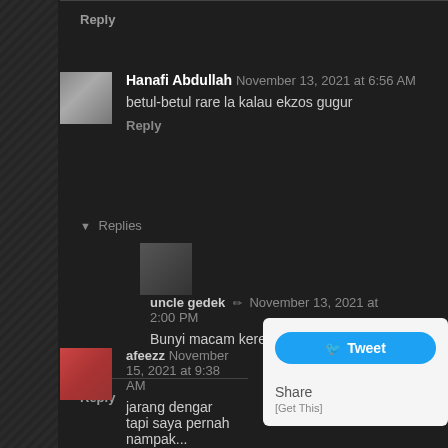Reply
Hanafi Abdullah  November 13, 2021 at 6:56 AM
betul-betul rare la kalau ekzos gugur
Reply
▼ Replies
uncle gedek ✏ November 13, 2021 at 2:00 PM
Bunyi macam kereta sport tu! hahahaha
Reply
afeezz  November 15, 2021 at 9:38 AM
jarang dengar tapi saya pernah nampak...
Reply